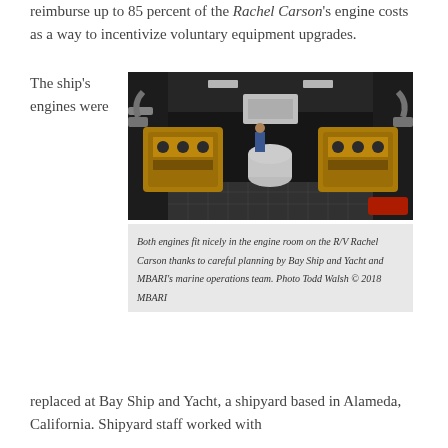reimburse up to 85 percent of the Rachel Carson's engine costs as a way to incentivize voluntary equipment upgrades.
The ship's engines were
[Figure (photo): Interior photo of the engine room on the R/V Rachel Carson showing two large yellow engines on either side, pipes, equipment, and various machinery. Photo taken with a wide-angle/fisheye lens.]
Both engines fit nicely in the engine room on the R/V Rachel Carson thanks to careful planning by Bay Ship and Yacht and MBARI's marine operations team. Photo Todd Walsh © 2018 MBARI
replaced at Bay Ship and Yacht, a shipyard based in Alameda, California. Shipyard staff worked with